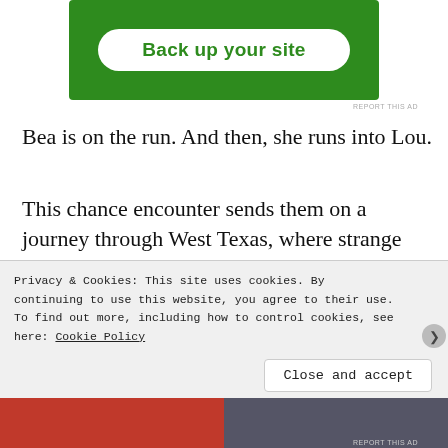[Figure (other): Green advertisement banner with white rounded button labeled 'Back up your site']
REPORT THIS AD
Bea is on the run. And then, she runs into Lou.
This chance encounter sends them on a journey through West Texas, where strange things follow them wherever they go. The landscape morphs into an unsettling world, a mysterious cat joins them, and they are haunted by a group of threatening men. To stay safe, Bea and Lou must trust each other as they are driven to confront buried truths. The two women share their stories of loss and heartbreak—and
Privacy & Cookies: This site uses cookies. By continuing to use this website, you agree to their use.
To find out more, including how to control cookies, see here: Cookie Policy
Close and accept